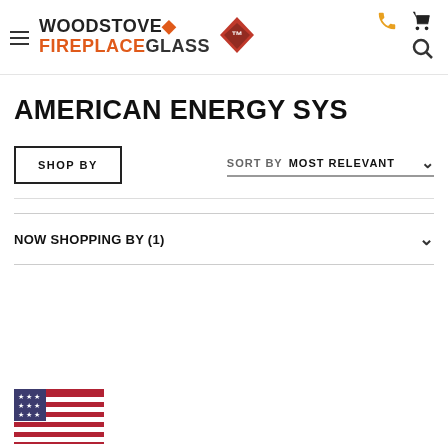Woodstove Fireplace Glass - navigation header with logo, hamburger menu, phone icon, search icon, cart icon
AMERICAN ENERGY SYS
SHOP BY | SORT BY MOST RELEVANT
NOW SHOPPING BY (1)
[Figure (illustration): Bottom-left corner shows partial US flag / American flag badge illustration]